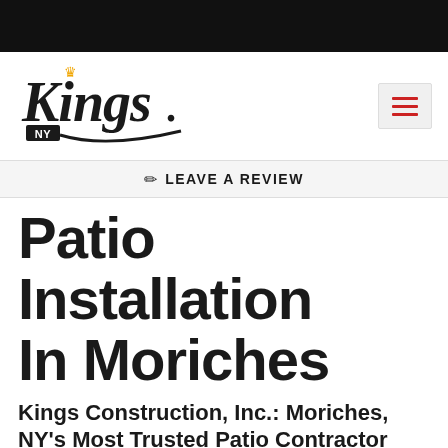[Figure (logo): Kings NY construction company logo in cursive script with crown icon and NY badge, hamburger menu icon on the right]
✏ LEAVE A REVIEW
Patio Installation In Moriches
Kings Construction, Inc.: Moriches, NY's Most Trusted Patio Contractor
Whether you're thinking about installing a brand new patio or considering an upgrade to an existing